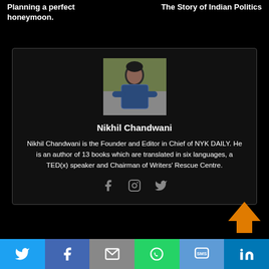Planning a perfect honeymoon.
The Story of Indian Politics
[Figure (photo): Portrait photo of Nikhil Chandwani — young man with dark hair, arms crossed, wearing a plaid shirt, outdoors background]
Nikhil Chandwani
Nikhil Chandwani is the Founder and Editor in Chief of NYK DAILY. He is an author of 13 books which are translated in six languages, a TED(x) speaker and Chairman of Writers' Rescue Centre.
[Figure (infographic): Social sharing icons: Facebook, Instagram, Twitter]
[Figure (infographic): Scroll-to-top orange arrow button]
Share bar with Twitter, Facebook, Email, WhatsApp, SMS, LinkedIn icons